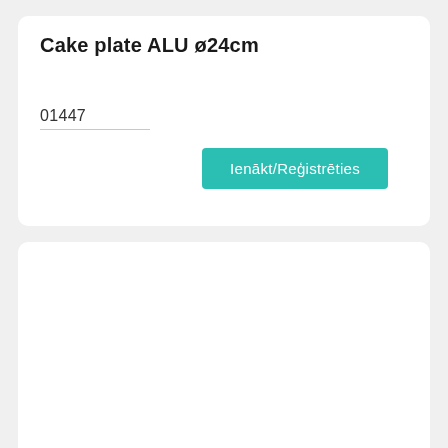Cake plate ALU ø24cm
01447
Ienākt/Reģistrēties